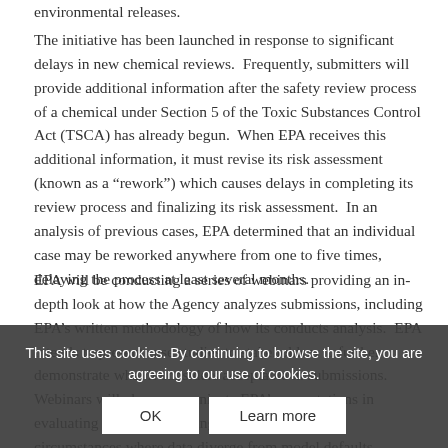environmental releases.
The initiative has been launched in response to significant delays in new chemical reviews.  Frequently, submitters will provide additional information after the safety review process of a chemical under Section 5 of the Toxic Substances Control Act (TSCA) has already begun.  When EPA receives this additional information, it must revise its risk assessment (known as a “rework”) which causes delays in completing its review process and finalizing its risk assessment.  In an analysis of previous cases, EPA determined that an individual case may be reworked anywhere from one to five times, delaying the process at least several months.
EPA will be conducting a series of webinars providing an in-depth look at how the Agency analyzes submissions, including EPA’s written methodology of how its conducts analysis.  EPA intends to present case studies to stakeholders to further demonstrate what it considers acceptable in submissions. Webinars will also communicate EPA’s expectations in evaluating quality of existing data, particularly in circumstances where data diverge from model defaults
This site uses cookies. By continuing to browse the site, you are agreeing to our use of cookies.